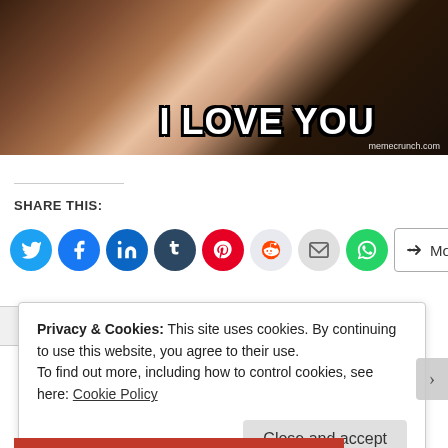[Figure (photo): Meme image of a crying woman with text 'I LOVE YOU' in bold white letters with black outline. Watermark: memecrunch.com]
SHARE THIS:
[Figure (infographic): Row of social sharing buttons: Twitter (blue), Facebook (blue), LinkedIn (blue), Tumblr (dark blue), Pinterest (red), Reddit (light), Email (grey), WhatsApp (green), and a More button]
Privacy & Cookies: This site uses cookies. By continuing to use this website, you agree to their use. To find out more, including how to control cookies, see here: Cookie Policy
Close and accept